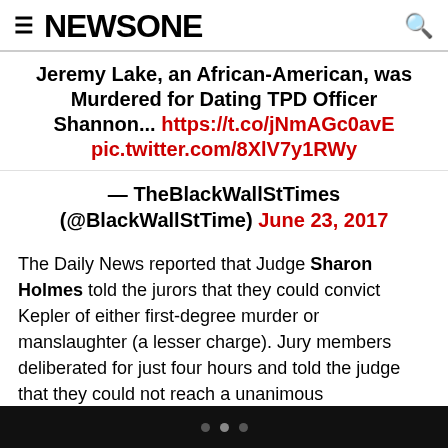≡ NEWSONE 🔍
Jeremy Lake, an African-American, was Murdered for Dating TPD Officer Shannon... https://t.co/jNmAGc0avE pic.twitter.com/8XlV7y1RWy
— TheBlackWallStTimes (@BlackWallStTime) June 23, 2017
The Daily News reported that Judge Sharon Holmes told the jurors that they could convict Kepler of either first-degree murder or manslaughter (a lesser charge). Jury members deliberated for just four hours and told the judge that they could not reach a unanimous